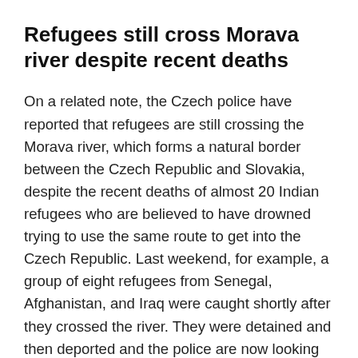Refugees still cross Morava river despite recent deaths
On a related note, the Czech police have reported that refugees are still crossing the Morava river, which forms a natural border between the Czech Republic and Slovakia, despite the recent deaths of almost 20 Indian refugees who are believed to have drowned trying to use the same route to get into the Czech Republic. Last weekend, for example, a group of eight refugees from Senegal, Afghanistan, and Iraq were caught shortly after they crossed the river. They were detained and then deported and the police are now looking for the refugee smuggler responsible for bringing them across the border.